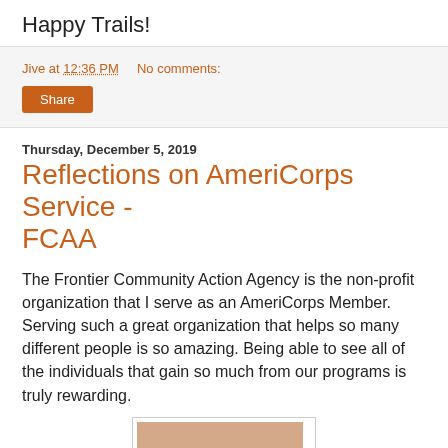Happy Trails!
Jive at 12:36 PM    No comments:
Share
Thursday, December 5, 2019
Reflections on AmeriCorps Service - FCAA
The Frontier Community Action Agency is the non-profit organization that I serve as an AmeriCorps Member. Serving such a great organization that helps so many different people is so amazing. Being able to see all of the individuals that gain so much from our programs is truly rewarding.
[Figure (photo): Partial portrait photo of a person with dark hair against a warm beige/tan background, shown from approximately the shoulders up, cropped at bottom of frame]